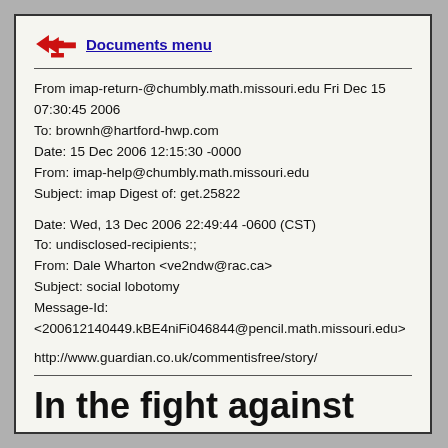Documents menu
From imap-return-@chumbly.math.missouri.edu Fri Dec 15 07:30:45 2006
To: brownh@hartford-hwp.com
Date: 15 Dec 2006 12:15:30 -0000
From: imap-help@chumbly.math.missouri.edu
Subject: imap Digest of: get.25822
Date: Wed, 13 Dec 2006 22:49:44 -0600 (CST)
To: undisclosed-recipients:;
From: Dale Wharton <ve2ndw@rac.ca>
Subject: social lobotomy
Message-Id:
<200612140449.kBE4niFi046844@pencil.math.missouri.edu>
http://www.guardian.co.uk/commentisfree/story/
In the fight against cruelty, barbarism, and extremism, America...